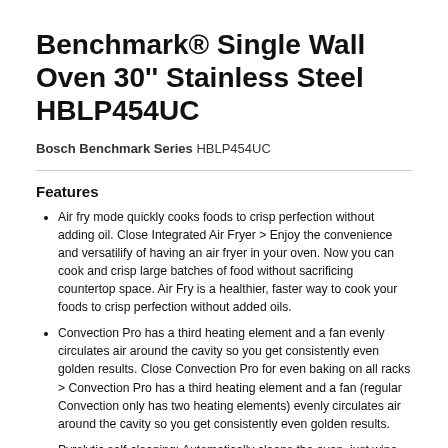Benchmark® Single Wall Oven 30'' Stainless Steel HBLP454UC
Bosch Benchmark Series HBLP454UC
Features
Air fry mode quickly cooks foods to crisp perfection without adding oil. Close Integrated Air Fryer > Enjoy the convenience and versatilify of having an air fryer in your oven. Now you can cook and crisp large batches of food without sacrificing countertop space. Air Fry is a healthier, faster way to cook your foods to crisp perfection without added oils.
Convection Pro has a third heating element and a fan evenly circulates air around the cavity so you get consistently even golden results. Close Convection Pro for even baking on all racks > Convection Pro has a third heating element and a fan (regular Convection only has two heating elements) evenly circulates air around the cavity so you get consistently even golden results.
Pyrolytic self-cleaning: Automatically cleans the oven, just wipe out the ash. Let your oven do the cleaning. Cleaning the oven by hand can be